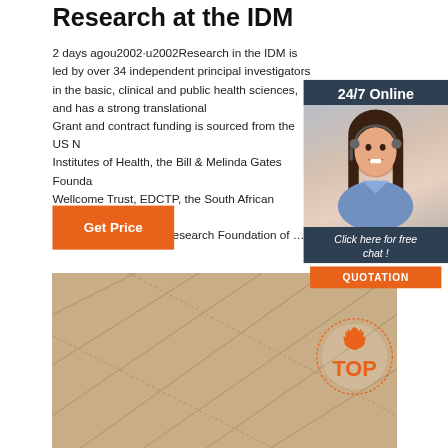Research at the IDM
2 days agou2002·u2002Research in the IDM is led by over 34 independent principal investigators in the basic, clinical and public health sciences, and has a strong translational focus. Grant and contract funding is sourced from the US National Institutes of Health, the Bill & Melinda Gates Foundation, Wellcome Trust, EDCTP, the South African Medical Research Council, the National Research Foundation of …
[Figure (photo): Customer service representative woman with headset smiling, shown in a 24/7 Online chat widget with dark navy background, orange QUOTATION button, and italic 'Click here for free chat!' text]
[Figure (photo): Close-up of beige/tan fabric or textile material with diagonal stitching lines, with a TOP badge/logo overlay in the bottom right corner]